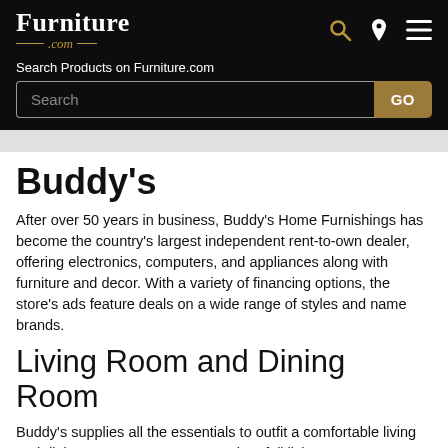Furniture.com — Search Products on Furniture.com
Buddy's
After over 50 years in business, Buddy's Home Furnishings has become the country's largest independent rent-to-own dealer, offering electronics, computers, and appliances along with furniture and decor. With a variety of financing options, the store's ads feature deals on a wide range of styles and name brands.
Living Room and Dining Room
Buddy's supplies all the essentials to outfit a comfortable living and dining room. Customers can shop full living